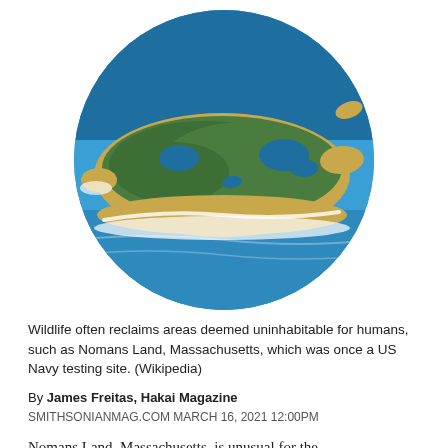[Figure (photo): Aerial circular photo of Nomans Land island, Massachusetts, showing green vegetation, blue ponds, sandy beaches with white surf, and surrounding blue ocean water.]
Wildlife often reclaims areas deemed uninhabitable for humans, such as Nomans Land, Massachusetts, which was once a US Navy testing site. (Wikipedia)
By James Freitas, Hakai Magazine
SMITHSONIANMAG.COM MARCH 16, 2021 12:00PM
Nomans Land, Massachusetts, is unusual for the